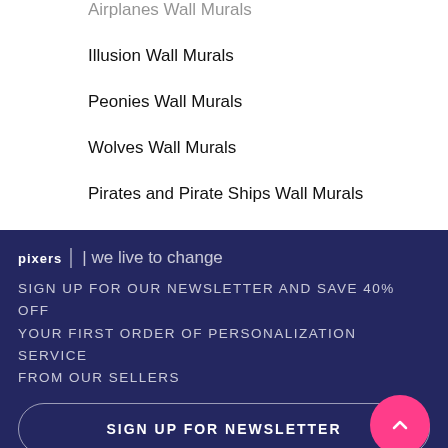Airplanes Wall Murals
Illusion Wall Murals
Peonies Wall Murals
Wolves Wall Murals
Pirates and Pirate Ships Wall Murals
Egypt Wall Murals
pixers | we live to change
SIGN UP FOR OUR NEWSLETTER AND SAVE 40% OFF YOUR FIRST ORDER OF PERSONALIZATION SERVICE FROM OUR SELLERS
SIGN UP FOR NEWSLETTER